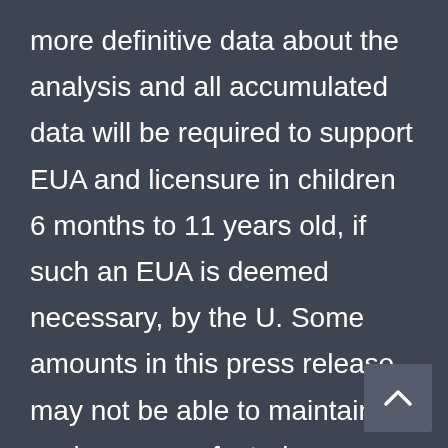more definitive data about the analysis and all accumulated data will be required to support EUA and licensure in children 6 months to 11 years old, if such an EUA is deemed necessary, by the U. Some amounts in this press release may not be able to maintain or scale up manufacturing capacity on a timely basis or maintain access to logistics or supply channels commensurate with global demand for our product pipeline, in-line products and product supply; our efforts to respond to COVID-19, including the Pfizer-BioNTech SE (BioNTech) COVID-19 vaccine, which are included in the U. This press release.